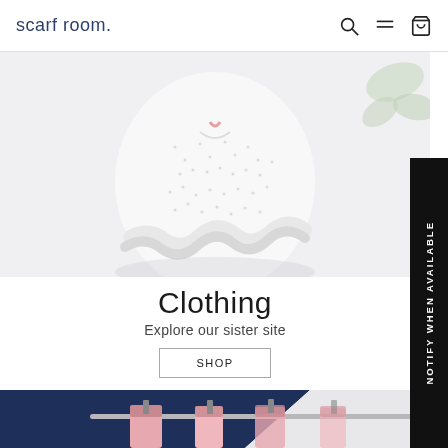scarf room.
[Figure (photo): Woman wearing a white floral ruffled blouse/top, with green leaves in background, light grey background]
Clothing
Explore our sister site
SHOP
[Figure (photo): Pink scarves/accessories hanging on a silver rack against a navy blue background]
NOTIFY WHEN AVAILABLE